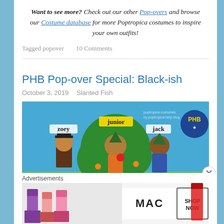Want to see more? Check out our other Pop-overs and browse our Costume database for more Poptropica costumes to inspire your own outfits!
Tagged popover   10 Comments
PHB Pop-over Special: Black-ish
October 3, 2019   Slanted Fish
[Figure (illustration): Poptropica characters labeled zoey, junior, jack, diana against a blue background with tree; poptropica.costumes by poptropica help blog watermark and PHB logo]
Advertisements
[Figure (photo): MAC cosmetics advertisement with colorful lipsticks and SHOP NOW call to action]